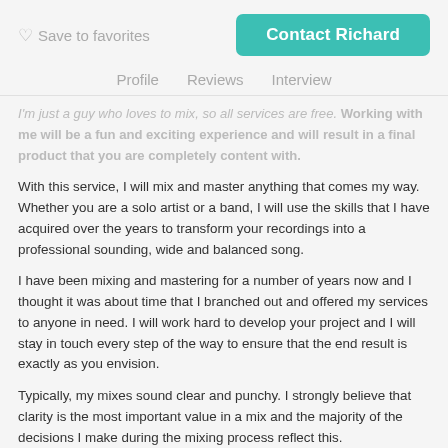Save to favorites    Contact Richard
Profile   Reviews   Interview
I'm just a guy who loves to mix, so all services are free. Working with me will be a fun and exciting experience and will result in a final product that you are completely content with.
With this service, I will mix and master anything that comes my way. Whether you are a solo artist or a band, I will use the skills that I have acquired over the years to transform your recordings into a professional sounding, wide and balanced song.
I have been mixing and mastering for a number of years now and I thought it was about time that I branched out and offered my services to anyone in need. I will work hard to develop your project and I will stay in touch every step of the way to ensure that the end result is exactly as you envision.
Typically, my mixes sound clear and punchy. I strongly believe that clarity is the most important value in a mix and the majority of the decisions I make during the mixing process reflect this.
Over the years I have built an extensive collection of high-end plug-ins...